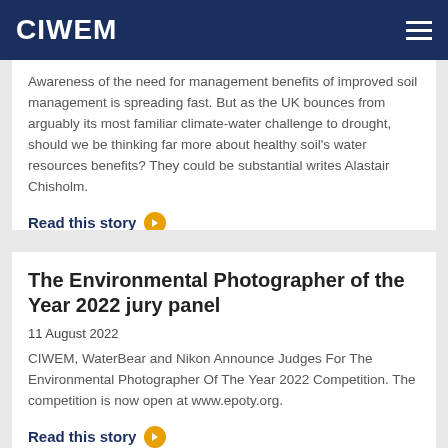CIWEM
Awareness of the need for management benefits of improved soil management is spreading fast. But as the UK bounces from arguably its most familiar climate-water challenge to drought, should we be thinking far more about healthy soil's water resources benefits? They could be substantial writes Alastair Chisholm.
Read this story
The Environmental Photographer of the Year 2022 jury panel
11 August 2022
CIWEM, WaterBear and Nikon Announce Judges For The Environmental Photographer Of The Year 2022 Competition. The competition is now open at www.epoty.org.
Read this story